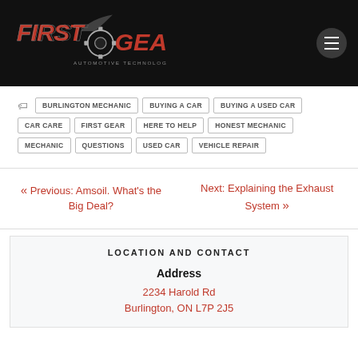[Figure (logo): First Gear Automotive Technologies logo on black header background with hamburger menu icon]
BURLINGTON MECHANIC
BUYING A CAR
BUYING A USED CAR
CAR CARE
FIRST GEAR
HERE TO HELP
HONEST MECHANIC
MECHANIC
QUESTIONS
USED CAR
VEHICLE REPAIR
« Previous: Amsoil. What's the Big Deal?
Next: Explaining the Exhaust System »
LOCATION AND CONTACT
Address
2234 Harold Rd
Burlington, ON L7P 2J5